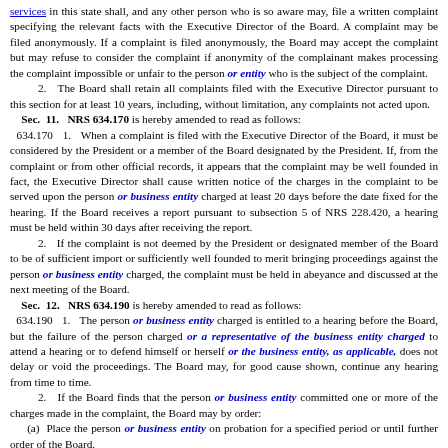services in this state shall, and any other person who is so aware may, file a written complaint specifying the relevant facts with the Executive Director of the Board. A complaint may be filed anonymously. If a complaint is filed anonymously, the Board may accept the complaint but may refuse to consider the complaint if anonymity of the complainant makes processing the complaint impossible or unfair to the person or entity who is the subject of the complaint.
2.   The Board shall retain all complaints filed with the Executive Director pursuant to this section for at least 10 years, including, without limitation, any complaints not acted upon.
Sec. 11.   NRS 634.170 is hereby amended to read as follows:
634.170   1.   When a complaint is filed with the Executive Director of the Board, it must be considered by the President or a member of the Board designated by the President. If, from the complaint or from other official records, it appears that the complaint may be well founded in fact, the Executive Director shall cause written notice of the charges in the complaint to be served upon the person or business entity charged at least 20 days before the date fixed for the hearing. If the Board receives a report pursuant to subsection 5 of NRS 228.420, a hearing must be held within 30 days after receiving the report.
2.   If the complaint is not deemed by the President or designated member of the Board to be of sufficient import or sufficiently well founded to merit bringing proceedings against the person or business entity charged, the complaint must be held in abeyance and discussed at the next meeting of the Board.
Sec. 12.   NRS 634.190 is hereby amended to read as follows:
634.190   1.   The person or business entity charged is entitled to a hearing before the Board, but the failure of the person charged or a representative of the business entity charged to attend a hearing or to defend himself or herself or the business entity, as applicable, does not delay or void the proceedings. The Board may, for good cause shown, continue any hearing from time to time.
2.   If the Board finds that the person or business entity committed one or more of the charges made in the complaint, the Board may by order:
(a)  Place the person or business entity on probation for a specified period or until further order of the Board.
(b)  Administer to the person or business entity a public reprimand.
(c)  Limit the practice of the person or business entity to the...